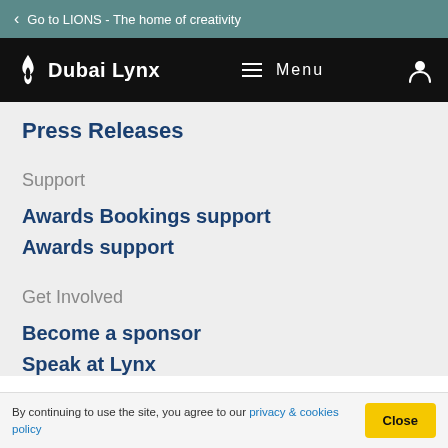< Go to LIONS - The home of creativity
[Figure (logo): Dubai Lynx logo with flame icon, Menu hamburger icon, and user profile icon on black navigation bar]
Press Releases
Support
Awards Bookings support
Awards support
Get Involved
Become a sponsor
Speak at Lynx
By continuing to use the site, you agree to our privacy & cookies policy